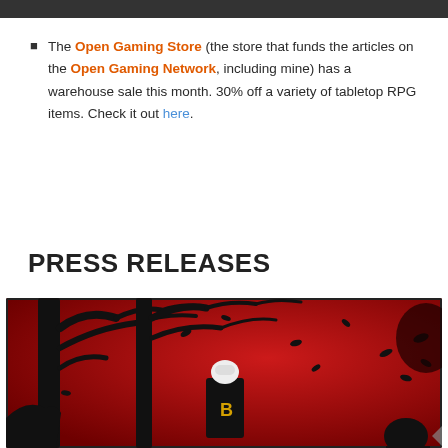The Open Gaming Store (the store that funds the articles on the Open Gaming Network, including mine) has a warehouse sale this month. 30% off a variety of tabletop RPG items. Check it out here.
PRESS RELEASES
[Figure (illustration): Dark graphic novel style illustration with a red background. Silhouettes of bare trees and falling leaves. A figure with white/blonde hair wearing a dark jacket with a 'B' letter patch stands in the foreground. Additional silhouetted figures visible on sides.]